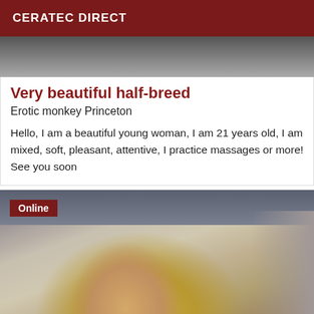CERATEC DIRECT
[Figure (photo): Partial photo of a person visible at top of first card]
Very beautiful half-breed
Erotic monkey Princeton
Hello, I am a beautiful young woman, I am 21 years old, I am mixed, soft, pleasant, attentive, I practice massages or more! See you soon
[Figure (photo): Photo of a blonde woman in what appears to be a salon setting, with an 'Online' badge overlay]